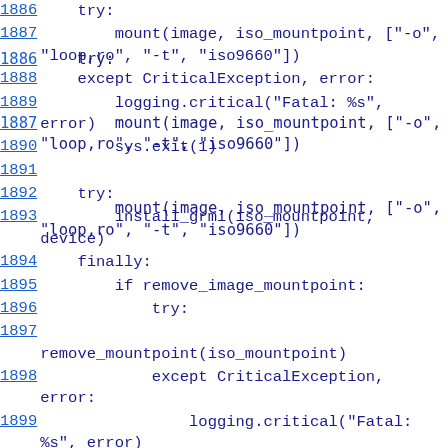1886    try:
1887        mount(image, iso_mountpoint, ["-o", "loop,ro", "-t", "iso9660"])
1888    except CriticalException, error:
1889        logging.critical("Fatal: %s", error)
1890        sys.exit(1)
1891
1892    try:
1893        install_grml(iso_mountpoint, device)
1894    finally:
1895        if remove_image_mountpoint:
1896            try:
1897                remove_mountpoint(iso_mountpoint)
1898            except CriticalException, error:
1899                logging.critical("Fatal: %s", error)
1900                cleanup()
1901
1902
1903
1904 def install_grml(mountpoint, device):
1905
    """Main logic for copying files of the currently running grml syste
1906
1907
    @mountpoin: directory where currently running live system reside